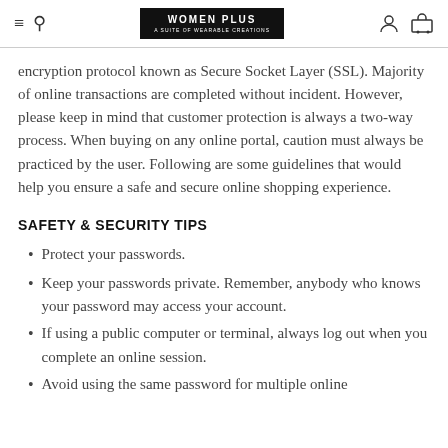WOMEN PLUS
encryption protocol known as Secure Socket Layer (SSL). Majority of online transactions are completed without incident. However, please keep in mind that customer protection is always a two-way process. When buying on any online portal, caution must always be practiced by the user. Following are some guidelines that would help you ensure a safe and secure online shopping experience.
SAFETY & SECURITY TIPS
Protect your passwords.
Keep your passwords private. Remember, anybody who knows your password may access your account.
If using a public computer or terminal, always log out when you complete an online session.
Avoid using the same password for multiple online